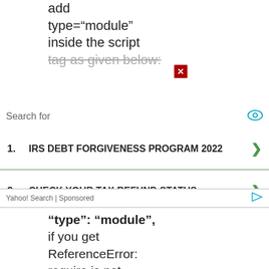add
type="module"
inside the script
tag as given below:
Search for
1. IRS DEBT FORGIVENESS PROGRAM 2022
2. CHECK YOUR TAX REFUND STATUS
3. SOCIAL SECURITY BENEFITS
4. TAX WITHHOLDING CALCULATOR
5. FEDERAL INCOME TAX CALCULATOR
Yahoo! Search | Sponsored
"type": "module",
if you get
ReferenceError:
require is not